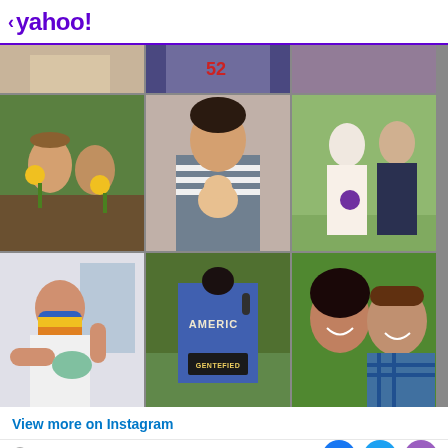< yahoo!
[Figure (photo): Instagram photo collage showing multiple photos: top row shows cropped fashion/people photos; middle row shows a couple with sunflowers, a woman holding a newborn baby, and a wedding photo; bottom row shows a woman getting vaccinated wearing a mask, a person in an AMERICA GENTEFIED denim jacket, and a smiling couple selfie.]
View more on Instagram
View comments